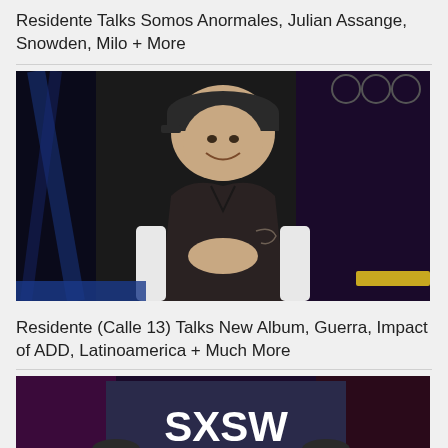Residente Talks Somos Anormales, Julian Assange, Snowden, Milo + More
[Figure (photo): Man in black cap and dark v-neck t-shirt sitting in white chair, smiling, with blue stage lights and purple background at an event.]
Residente (Calle 13) Talks New Album, Guerra, Impact of ADD, Latinoamerica + Much More
[Figure (photo): Two men sitting on stage at SXSW event, both wearing caps, with large SXSW logo banner visible in background.]